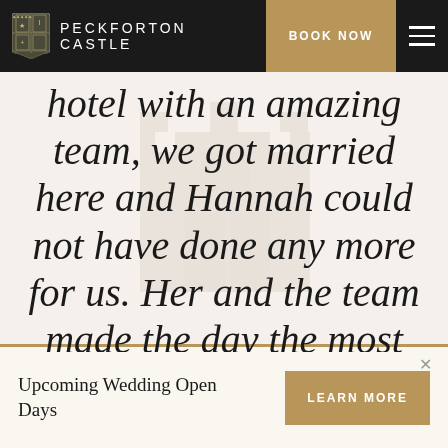PECKFORTON CASTLE | BOOK NOW
hotel with an amazing team, we got married here and Hannah could not have done any more for us. Her and the team made the day the most magical
Upcoming Wedding Open Days
LEARN MORE